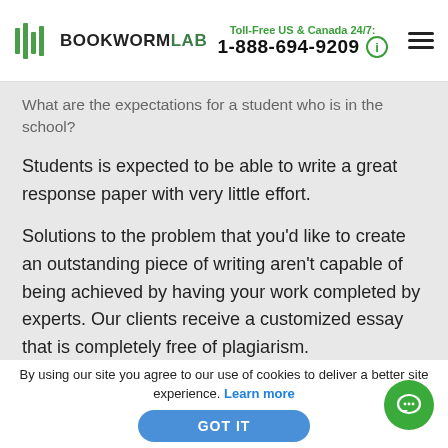BOOKWORMLAB | Toll-Free US & Canada 24/7: 1-888-694-9209
What are the expectations for a student who is in the school?
Students is expected to be able to write a great response paper with very little effort.
Solutions to the problem that you'd like to create an outstanding piece of writing aren't capable of being achieved by having your work completed by experts. Our clients receive a customized essay that is completely free of plagiarism.
BookWormLab has been offering writing services for quite a time and has a well-versed, trained, and experienced writing team for reaction papers which includes editors, writers, and experts. It will surprise you by how impressive custom-written
By using our site you agree to our use of cookies to deliver a better site experience. Learn more GOT IT